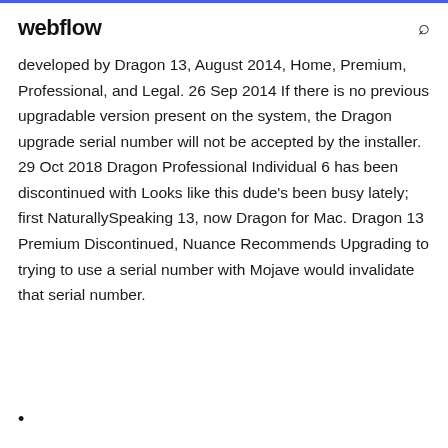webflow
developed by Dragon 13, August 2014, Home, Premium, Professional, and Legal. 26 Sep 2014 If there is no previous upgradable version present on the system, the Dragon upgrade serial number will not be accepted by the installer. 29 Oct 2018 Dragon Professional Individual 6 has been discontinued with Looks like this dude's been busy lately; first NaturallySpeaking 13, now Dragon for Mac. Dragon 13 Premium Discontinued, Nuance Recommends Upgrading to trying to use a serial number with Mojave would invalidate that serial number.
•